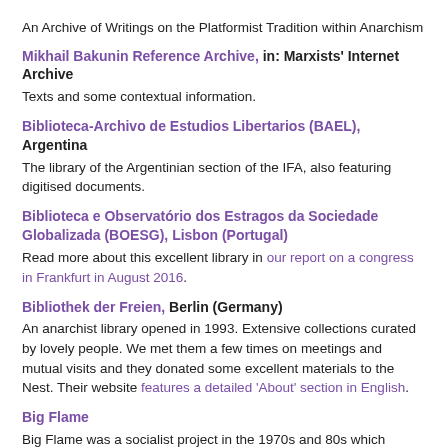An Archive of Writings on the Platformist Tradition within Anarchism
Mikhail Bakunin Reference Archive, in: Marxists' Internet Archive
Texts and some contextual information.
Biblioteca-Archivo de Estudios Libertarios (BAEL), Argentina
The library of the Argentinian section of the IFA, also featuring digitised documents.
Biblioteca e Observatório dos Estragos da Sociedade Globalizada (BOESG), Lisbon (Portugal)
Read more about this excellent library in our report on a congress in Frankfurt in August 2016.
Bibliothek der Freien, Berlin (Germany)
An anarchist library opened in 1993. Extensive collections curated by lovely people. We met them a few times on meetings and mutual visits and they donated some excellent materials to the Nest. Their website features a detailed ‘About’ section in English.
Big Flame
Big Flame was a socialist project in the 1970s and 80s which produced a series of themed papers which were influential on the libertarian left and anarchism alike. On this site you can find information and a